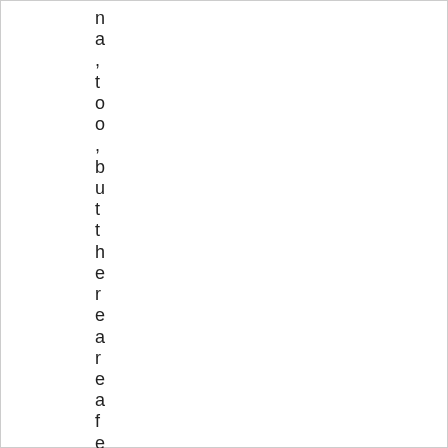n
a
,
t
o
o
,
b
u
t
t
h
e
r
e
a
r
e
a
f
e
w
s
p
o